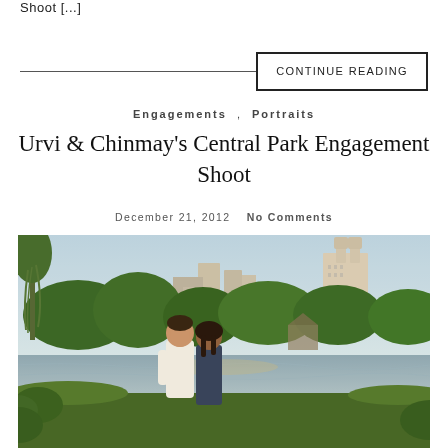Shoot [...]
CONTINUE READING
Engagements , Portraits
Urvi & Chinmay's Central Park Engagement Shoot
December 21, 2012   No Comments
[Figure (photo): Couple walking by a lake in Central Park with NYC skyline and lush green trees in the background, golden hour light.]